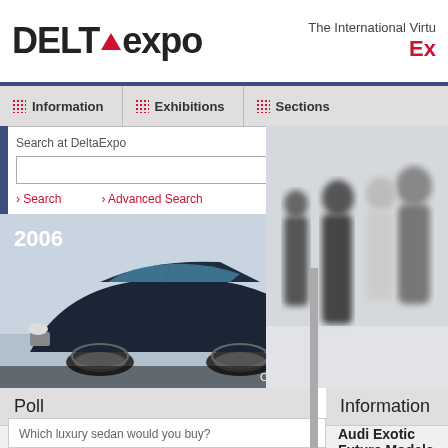[Figure (logo): DELTAexpo logo with red triangle between DELTA and expo]
The International Virtu... Ex...
Information
Exhibitions
Sections
Search at DeltaExpo
› Search   › Advanced Search
[Figure (photo): 2006 luxury dark blue sedan car with text 'Choose your luxury car >>']
[Figure (photo): Blurred photo of business people standing and talking]
Poll
Which luxury sedan would you buy?
Mercedes S-Class
Information
Audi Exotic Future Models
Monday, 31 July 2006